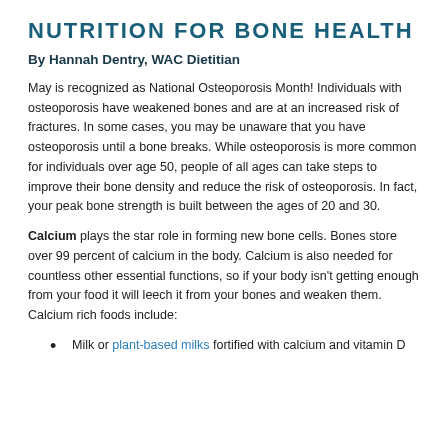NUTRITION FOR BONE HEALTH
By Hannah Dentry, WAC Dietitian
May is recognized as National Osteoporosis Month! Individuals with osteoporosis have weakened bones and are at an increased risk of fractures. In some cases, you may be unaware that you have osteoporosis until a bone breaks. While osteoporosis is more common for individuals over age 50, people of all ages can take steps to improve their bone density and reduce the risk of osteoporosis. In fact, your peak bone strength is built between the ages of 20 and 30.
Calcium plays the star role in forming new bone cells. Bones store over 99 percent of calcium in the body. Calcium is also needed for countless other essential functions, so if your body isn't getting enough from your food it will leech it from your bones and weaken them. Calcium rich foods include:
Milk or plant-based milks fortified with calcium and vitamin D